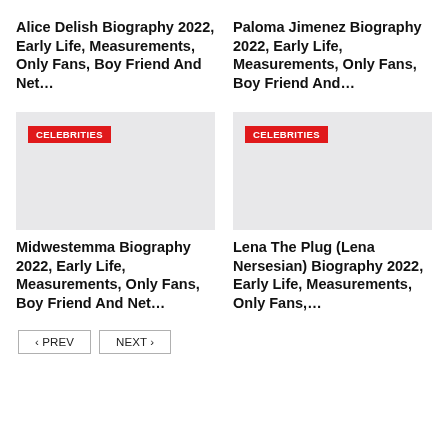Alice Delish Biography 2022, Early Life, Measurements, Only Fans, Boy Friend And Net…
Paloma Jimenez Biography 2022, Early Life, Measurements, Only Fans, Boy Friend And…
[Figure (photo): Placeholder image with CELEBRITIES badge for Midwestemma article]
[Figure (photo): Placeholder image with CELEBRITIES badge for Lena The Plug article]
Midwestemma Biography 2022, Early Life, Measurements, Only Fans, Boy Friend And Net…
Lena The Plug (Lena Nersesian) Biography 2022, Early Life, Measurements, Only Fans,…